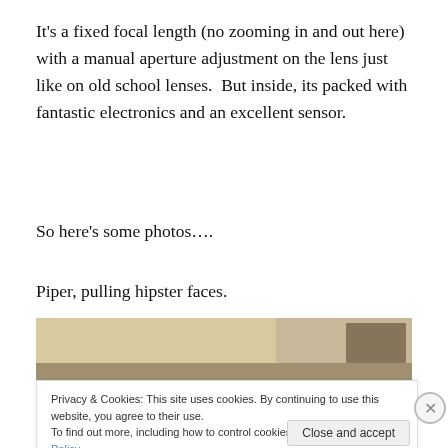It's a fixed focal length (no zooming in and out here) with a manual aperture adjustment on the lens just like on old school lenses.  But inside, its packed with fantastic electronics and an excellent sensor.
So here's some photos….
Piper, pulling hipster faces.
[Figure (photo): Partial view of a person with blonde hair, top of head visible]
Privacy & Cookies: This site uses cookies. By continuing to use this website, you agree to their use.
To find out more, including how to control cookies, see here: Cookie Policy